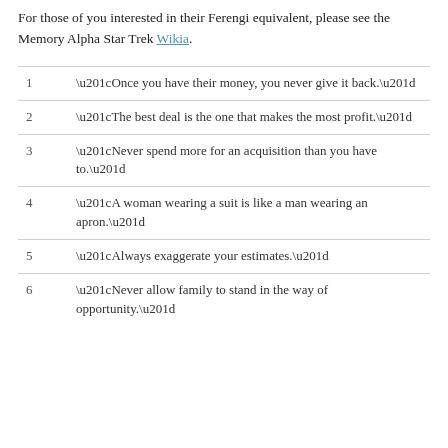For those of you interested in their Ferengi equivalent, please see the Memory Alpha Star Trek Wikia.
1  “Once you have their money, you never give it back.”
2  “The best deal is the one that makes the most profit.”
3  “Never spend more for an acquisition than you have to.”
4  “A woman wearing a suit is like a man wearing an apron.”
5  “Always exaggerate your estimates.”
6  “Never allow family to stand in the way of opportunity.”